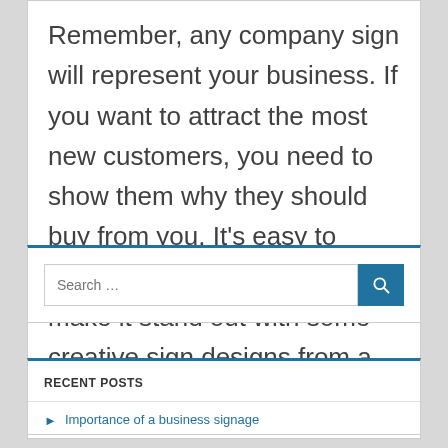Remember, any company sign will represent your business. If you want to attract the most new customers, you need to show them why they should buy from you. It’s easy to improve your business and make it stand out with some creative sign designs from a reputable sign company.
Search ...
RECENT POSTS
Importance of a business signage